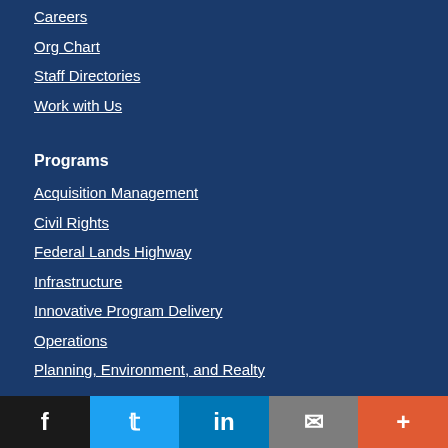Careers
Org Chart
Staff Directories
Work with Us
Programs
Acquisition Management
Civil Rights
Federal Lands Highway
Infrastructure
Innovative Program Delivery
Operations
Planning, Environment, and Realty
f  t  in  ✉  +